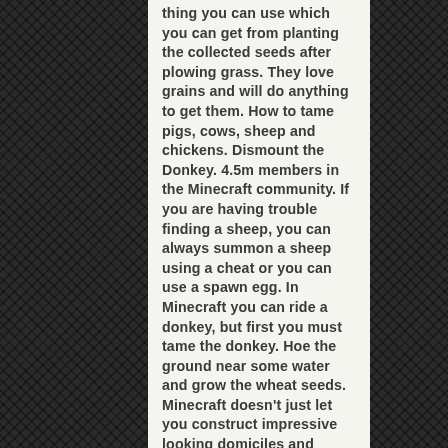thing you can use which you can get from planting the collected seeds after plowing grass. They love grains and will do anything to get them. How to tame pigs, cows, sheep and chickens. Dismount the Donkey. 4.5m members in the Minecraft community. If you are having trouble finding a sheep, you can always summon a sheep using a cheat or you can use a spawn egg. In Minecraft you can ride a donkey, but first you must tame the donkey. Hoe the ground near some water and grow the wheat seeds. Minecraft doesn't just let you construct impressive looking domiciles and structures using nothing but a pickaxe and imagination